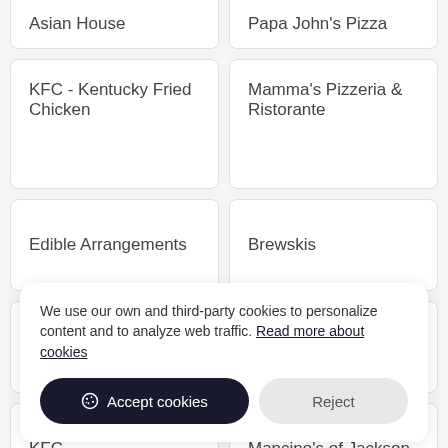Asian House
Papa John's Pizza
KFC - Kentucky Fried Chicken
Mamma's Pizzeria & Ristorante
Edible Arrangements
Brewskis
Seki Asian Bistro
Papa John's Pizza
KFC
Mancino's of Jackson
We use our own and third-party cookies to personalize content and to analyze web traffic. Read more about cookies